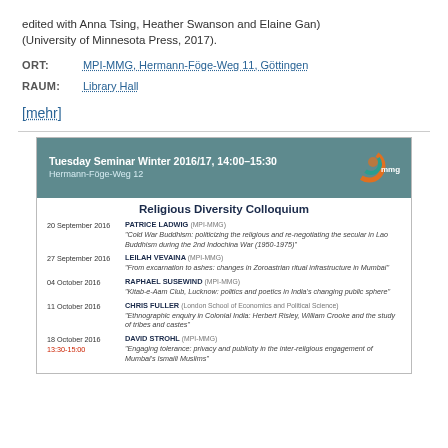edited with Anna Tsing, Heather Swanson and Elaine Gan) (University of Minnesota Press, 2017).
ORT:  MPI-MMG, Hermann-Föge-Weg 11, Göttingen
RAUM:  Library Hall
[mehr]
[Figure (infographic): Tuesday Seminar Winter 2016/17 schedule card for Religious Diversity Colloquium at MPI-MMG with teal header, mmg logo, and list of talks.]
20 September 2016 – PATRICE LADWIG (MPI-MMG): 'Cold War Buddhism: politicizing the religious and re-negotiating the secular in Lao Buddhism during the 2nd Indochina War (1950-1975)'
27 September 2016 – LEILAH VEVAINA (MPI-MMG): 'From excarnation to ashes: changes in Zoroastrian ritual infrastructure in Mumbai'
04 October 2016 – RAPHAEL SUSEWIND (MPI-MMG): 'Kitab-e-Aam Club, Lucknow: politics and poetics in India's changing public sphere'
11 October 2016 – CHRIS FULLER (London School of Economics and Political Science): 'Ethnographic enquiry in Colonial India: Herbert Risley, William Crooke and the study of tribes and castes'
18 October 2016, 13:30-15:00 – DAVID STROHL (MPI-MMG): 'Engaging tolerance: privacy and publicity in the inter-religious engagement of Mumbai's Ismaili Muslims'